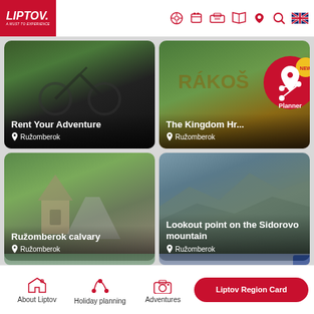[Figure (screenshot): Liptov tourism website header with logo and navigation icons]
[Figure (photo): Card: Rent Your Adventure - mountain bike photo, located in Ružomberok]
[Figure (photo): Card: The Kingdom Hr... - outdoor sign photo, located in Ružomberok, with NEW Planner badge overlay]
[Figure (photo): Card: Ružomberok calvary - roadside shrine/chapel on tree-lined path, located in Ružomberok]
[Figure (photo): Card: Lookout point on the Sidorovo mountain - mountain panorama photo, located in Ružomberok]
[Figure (screenshot): Bottom navigation bar with About Liptov, Holiday planning, Adventures icons and Liptov Region Card button]